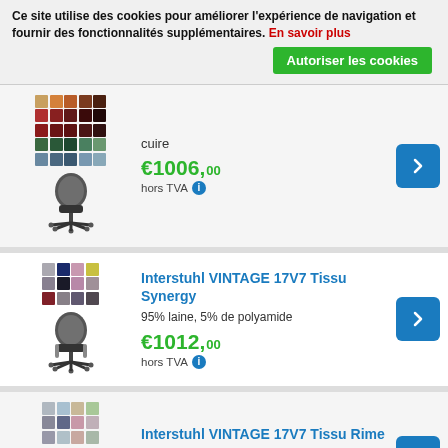Ce site utilise des cookies pour améliorer l'expérience de navigation et fournir des fonctionnalités supplémentaires. En savoir plus
Autoriser les cookies
cuire
€1006,00 hors TVA
Interstuhl VINTAGE 17V7 Tissu Synergy
95% laine, 5% de polyamide
€1012,00 hors TVA
Interstuhl VINTAGE 17V7 Tissu Rime
90% laine 10% nylon
€1012,00